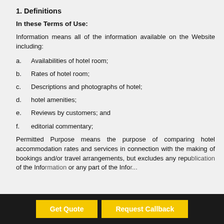1. Definitions
In these Terms of Use:
Information means all of the information available on the Website including:
a.  Availabilities of hotel room;
b.  Rates of hotel room;
c.  Descriptions and photographs of hotel;
d.  hotel amenities;
e.  Reviews by customers; and
f.   editorial commentary;
Permitted Purpose means the purpose of comparing hotel accommodation rates and services in connection with the making of bookings and/or travel arrangements, but excludes any republication of any of the Information or any part of the Infor...